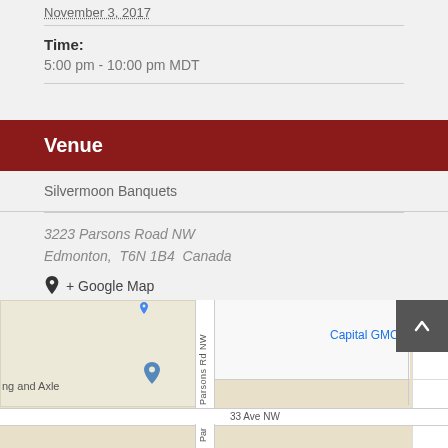November 3, 2017
Time:
5:00 pm - 10:00 pm MDT
Venue
Silvermoon Banquets
3223 Parsons Road NW
Edmonton,  T6N 1B4  Canada
+ Google Map
[Figure (map): Google Map showing location of 3223 Parsons Road NW, Edmonton, with Parsons Rd NW and 33 Ave NW visible, and a location pin marker. Capital GMC label visible on right side.]